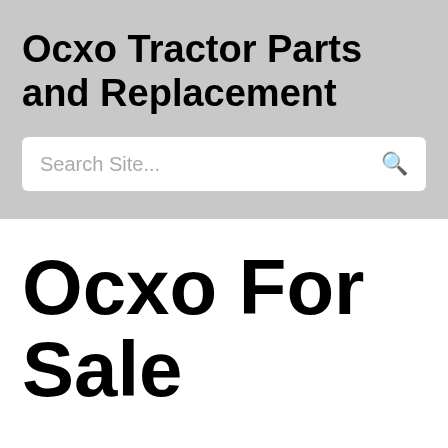Ocxo Tractor Parts and Replacement
Search Site...
Ocxo For Sale